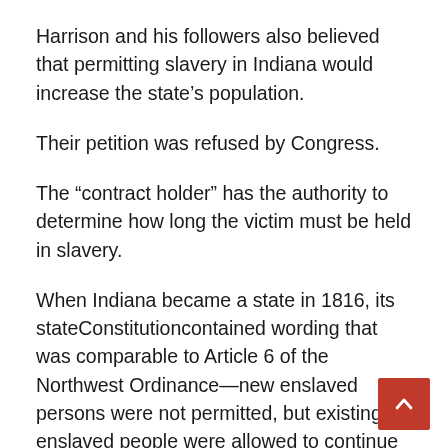Harrison and his followers also believed that permitting slavery in Indiana would increase the state's population.
Their petition was refused by Congress.
The “contract holder” has the authority to determine how long the victim must be held in slavery.
When Indiana became a state in 1816, its stateConstitutioncontained wording that was comparable to Article 6 of the Northwest Ordinance—new enslaved persons were not permitted, but existing enslaved people were allowed to continue in their current state of enslavement.